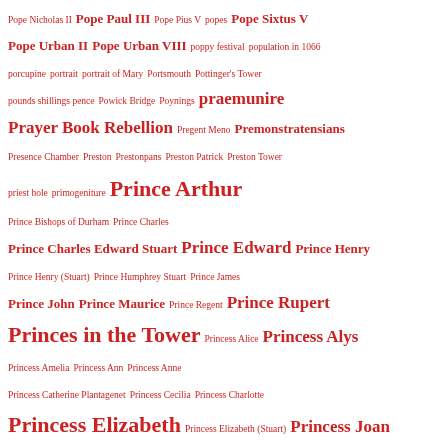Pope Nicholas II  Pope Paul III  Pope Pius V  popes  Pope Sixtus V  Pope Urban II  Pope Urban VIII  poppy festival  population in 1066  porcupine  portrait  portrait of Mary  Portsmouth  Pottinger's Tower  pounds shillings pence  Powick Bridge  Poynings  praemunire  Prayer Book Rebellion  Pregent Meno  Premonstratensians  Presence Chamber  Preston  Prestonpans  Preston Patrick  Preston Tower  priest hole  primogeniture  Prince Arthur  Prince Bishops of Durham  Prince Charles  Prince Charles Edward Stuart  Prince Edward  Prince Henry  Prince Henry (Stuart)  Prince Humphrey Stuart  Prince James  Prince John  Prince Maurice  Prince Regent  Prince Rupert  Princes in the Tower  Princess Alice  Princess Alys  Princess Amelia  Princess Ann  Princess Anne  Princess Catherine Plantagenet  Princess Cecilia  Princess Charlotte  Princess Elizabeth  Princess Elizabeth (Stuart)  Princess Joan  Princess Louisa Mary  Princess Margaret Tudor  Princess Mary  Princess Mary Tudor  Princess of Wales  Princess Olive of Cumberland  Princess Royal  Prinny  Prior Hamo  Prior Holbeach  prior of L